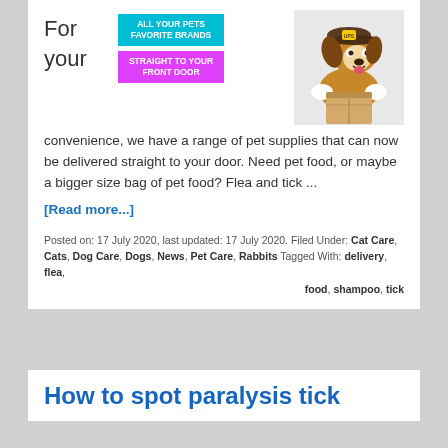[Figure (illustration): Dog wearing a delivery cap and holding a cardboard box, with cyan badge 'ALL YOUR PETS FAVORITE BRANDS' and pink badge 'STRAIGHT TO YOUR FRONT DOOR', next to text 'For your']
convenience, we have a range of pet supplies that can now be delivered straight to your door. Need pet food, or maybe a bigger size bag of pet food? Flea and tick ...
[Read more...]
Posted on: 17 July 2020, last updated: 17 July 2020. Filed Under: Cat Care, Cats, Dog Care, Dogs, News, Pet Care, Rabbits Tagged With: delivery, flea, food, shampoo, tick
How to spot paralysis tick